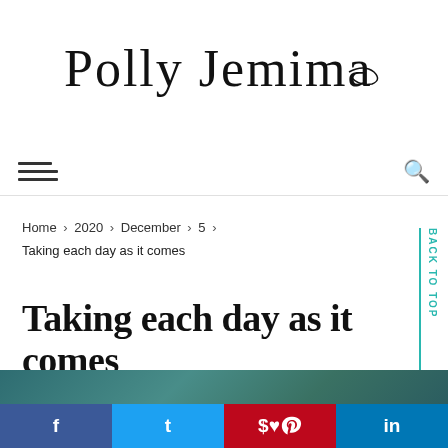[Figure (logo): Cursive handwritten logo reading 'Polly Jemima' with a decorative flourish]
Navigation bar with hamburger menu and search icon
Home › 2020 › December › 5 › Taking each day as it comes
Taking each day as it comes
[Figure (photo): Partial teal/dark green water or ocean image at the bottom of the page]
Social share buttons: f (Facebook), t (Twitter), p (Pinterest), in (LinkedIn)